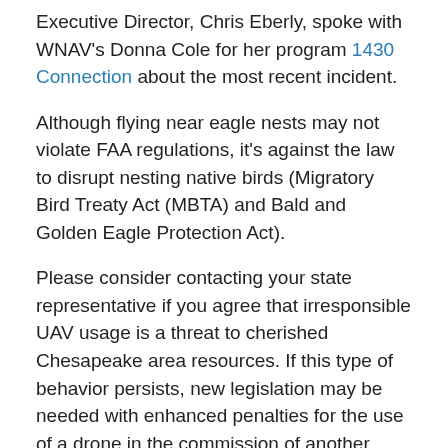Executive Director, Chris Eberly, spoke with WNAV's Donna Cole for her program 1430 Connection about the most recent incident.
Although flying near eagle nests may not violate FAA regulations, it's against the law to disrupt nesting native birds (Migratory Bird Treaty Act (MBTA) and Bald and Golden Eagle Protection Act).
Please consider contacting your state representative if you agree that irresponsible UAV usage is a threat to cherished Chesapeake area resources. If this type of behavior persists, new legislation may be needed with enhanced penalties for the use of a drone in the commission of another crime.